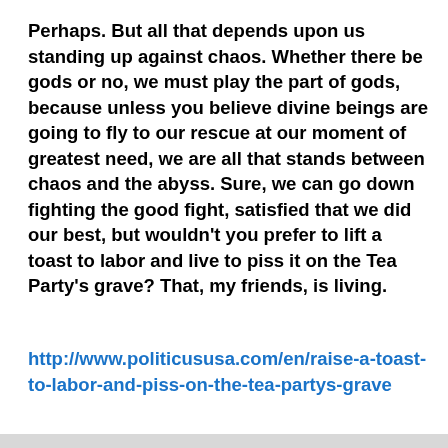Perhaps. But all that depends upon us standing up against chaos. Whether there be gods or no, we must play the part of gods, because unless you believe divine beings are going to fly to our rescue at our moment of greatest need, we are all that stands between chaos and the abyss. Sure, we can go down fighting the good fight, satisfied that we did our best, but wouldn't you prefer to lift a toast to labor and live to piss it on the Tea Party's grave? That, my friends, is living.
http://www.politicususa.com/en/raise-a-toast-to-labor-and-piss-on-the-tea-partys-grave